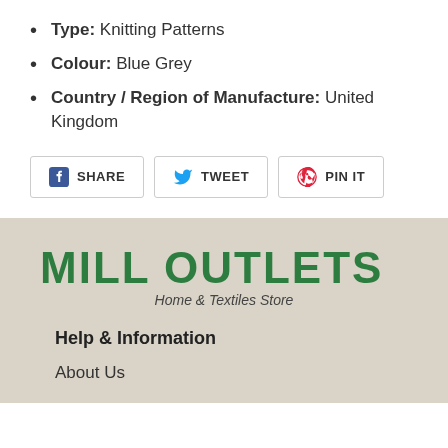Type: Knitting Patterns
Colour: Blue Grey
Country / Region of Manufacture: United Kingdom
[Figure (infographic): Social share buttons: SHARE (Facebook), TWEET (Twitter), PIN IT (Pinterest)]
[Figure (logo): Mill Outlets - Home & Textiles Store logo in green stencil font on beige background]
Help & Information
About Us